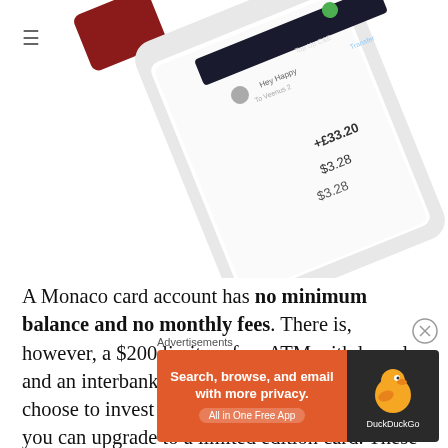[Figure (photo): A white smartphone displaying a Monaco card app interface with transaction details showing +£33.20 and $3.28 amounts, tilted at an angle against a white background.]
A Monaco card account has no minimum balance and no monthly fees. There is, however, a $200 limit on free ATM withdrawals and an interbank exchange limit of $2,000. If you choose to invest and hold the MCO token, then you can upgrade to a limited edition card. These cards have higher limits on ATM and interbank transfers in addition to looking cooler than the
Advertisements
[Figure (screenshot): DuckDuckGo advertisement banner: orange left panel with text 'Search, browse, and email with more privacy. All in One Free App' and dark right panel with DuckDuckGo duck logo.]